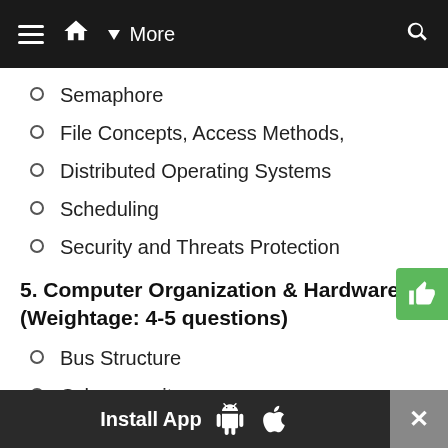≡ 🏠 ▼ More 🔍
Semaphore
File Concepts, Access Methods,
Distributed Operating Systems
Scheduling
Security and Threats Protection
5. Computer Organization & Hardware (Weightage: 4-5 questions)
Bus Structure
Cybersecurity
Network security
Cryptography
Firewall
Install App  [Android] [Apple]  ✕